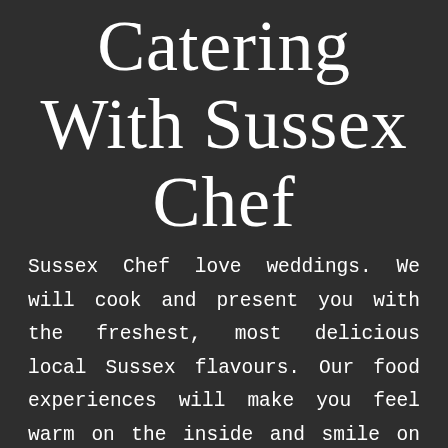Catering With Sussex Chef
Sussex Chef love weddings. We will cook and present you with the freshest, most delicious local Sussex flavours. Our food experiences will make you feel warm on the inside and smile on the outside. For the bride and groom who want food with style, taste, provenance and quality plus a professional friendly service with attention to every detail, Sussex Chef wedding caterers are your